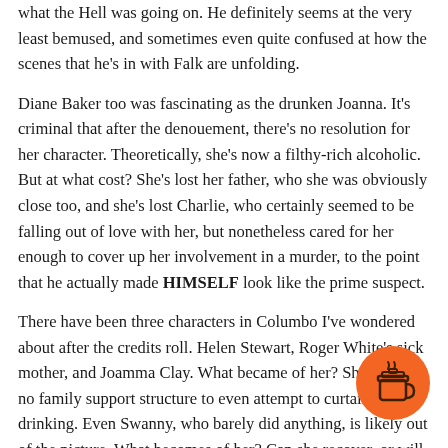what the Hell was going on. He definitely seems at the very least bemused, and sometimes even quite confused at how the scenes that he's in with Falk are unfolding.
Diane Baker too was fascinating as the drunken Joanna. It's criminal that after the denouement, there's no resolution for her character. Theoretically, she's now a filthy-rich alcoholic. But at what cost? She's lost her father, who she was obviously close too, and she's lost Charlie, who certainly seemed to be falling out of love with her, but nonetheless cared for her enough to cover up her involvement in a murder, to the point that he actually made HIMSELF look like the prime suspect.
There have been three characters in Columbo I've wondered about after the credits roll. Helen Stewart, Roger White's sick mother, and Joamma Clay. What became of her? She now has no family support structure to even attempt to curtail her drinking. Even Swanny, who barely did anything, is likely out of the picture. What becomes of her? Can she recover, or will Joanna drink herself into an early grave? Kudos to Diane Baker for putting so much into the secondary character that
[Figure (illustration): Orange circular button with a coffee cup takeaway icon in white/dark outline, positioned in bottom-right area]